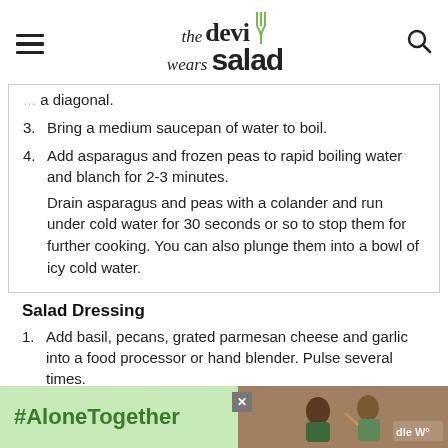the devi wears salad
a diagonal.
3. Bring a medium saucepan of water to boil.
4. Add asparagus and frozen peas to rapid boiling water and blanch for 2-3 minutes.
Drain asparagus and peas with a colander and run under cold water for 30 seconds or so to stop them for further cooking. You can also plunge them into a bowl of icy cold water.
Salad Dressing
1. Add basil, pecans, grated parmesan cheese and garlic into a food processor or hand blender. Pulse several times.
[Figure (photo): Advertisement banner with #AloneTogether text and photo of two people]